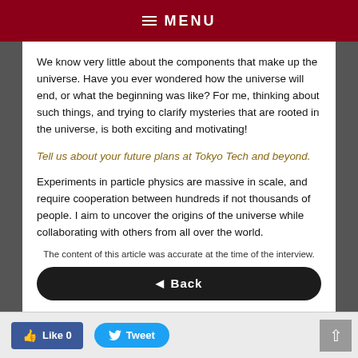≡ MENU
We know very little about the components that make up the universe. Have you ever wondered how the universe will end, or what the beginning was like? For me, thinking about such things, and trying to clarify mysteries that are rooted in the universe, is both exciting and motivating!
Tell us about your future plans at Tokyo Tech and beyond.
Experiments in particle physics are massive in scale, and require cooperation between hundreds if not thousands of people. I aim to uncover the origins of the universe while collaborating with others from all over the world.
The content of this article was accurate at the time of the interview.
◄ Back
👍 Like 0   Tweet